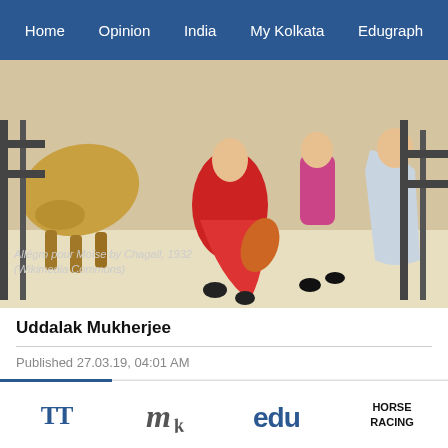Home | Opinion | India | My Kolkata | Edugraph
[Figure (photo): Painting of figures dancing/running in colorful clothing, partial view. Caption overlay reads: Allégro pour Moïse by Chagall, 1932 (Wikimedia Commons)]
Allégro pour Moïse by Chagall, 1932 (Wikimedia Commons)
Uddalak Mukherjee
Published 27.03.19, 04:01 AM
Advertisement
TT | my | edu | HORSE RACING